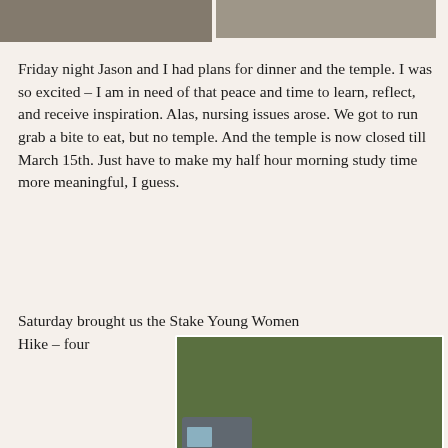[Figure (photo): Two photos at the top of the page, partially cropped]
Friday night Jason and I had plans for dinner and the temple.  I was so excited – I am in need of that peace and time to learn, reflect, and receive inspiration.  Alas, nursing issues arose.  We got to run grab a bite to eat, but no temple.  And the temple is now closed till March 15th.  Just have to make my half hour morning study time more meaningful, I guess.
Saturday brought us the Stake Young Women Hike – four
[Figure (photo): Group photo of young women and adults gathered outdoors in a wooded area, preparing for a hike]
miles.  I loved it!!
[Figure (photo): Two photos at the bottom: left shows a blurry close-up of hair/fur (possibly an animal), right shows a person's braided hair from behind in a wooded setting]